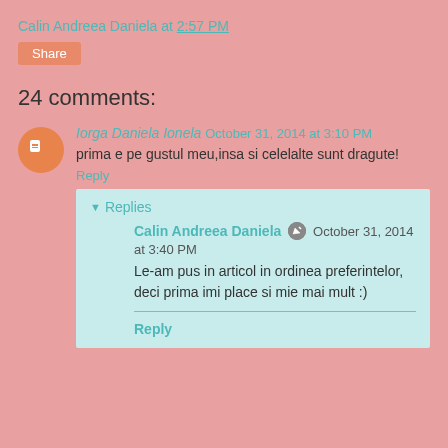Calin Andreea Daniela at 2:57 PM
Share
24 comments:
Iorga Daniela Ionela  October 31, 2014 at 3:10 PM
prima e pe gustul meu,insa si celelalte sunt dragute!
Reply
Replies
Calin Andreea Daniela  October 31, 2014 at 3:40 PM
Le-am pus in articol in ordinea preferintelor, deci prima imi place si mie mai mult :)
Reply